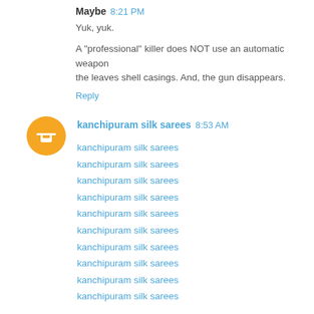Maybe 8:21 PM
Yuk, yuk.
A "professional" killer does NOT use an automatic weapon the leaves shell casings. And, the gun disappears.
Reply
kanchipuram silk sarees 8:53 AM
kanchipuram silk sarees
kanchipuram silk sarees
kanchipuram silk sarees
kanchipuram silk sarees
kanchipuram silk sarees
kanchipuram silk sarees
kanchipuram silk sarees
kanchipuram silk sarees
kanchipuram silk sarees
kanchipuram silk sarees